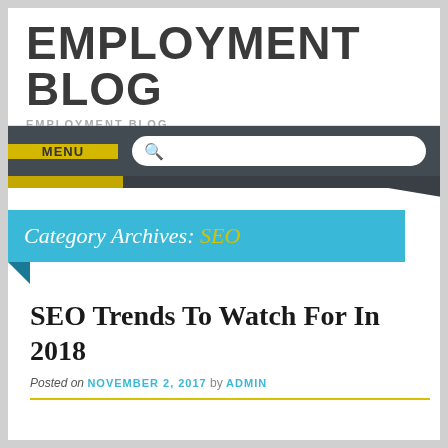EMPLOYMENT BLOG
EMPLOYMENT BLOG
MENU
Category Archives: SEO
SEO Trends To Watch For In 2018
Posted on NOVEMBER 2, 2017 by ADMIN